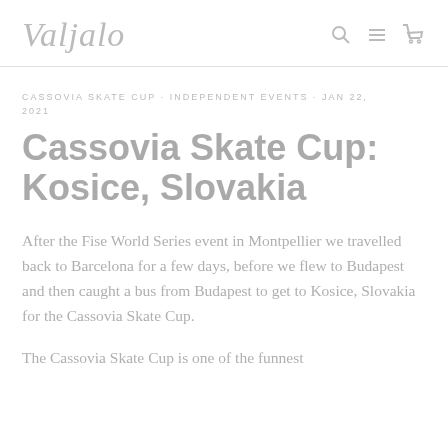Valjalo
CASSOVIA SKATE CUP · INDEPENDENT EVENTS · JAN 22, 2021
Cassovia Skate Cup: Kosice, Slovakia
After the Fise World Series event in Montpellier we travelled back to Barcelona for a few days, before we flew to Budapest and then caught a bus from Budapest to get to Kosice, Slovakia for the Cassovia Skate Cup.
The Cassovia Skate Cup is one of the funnest